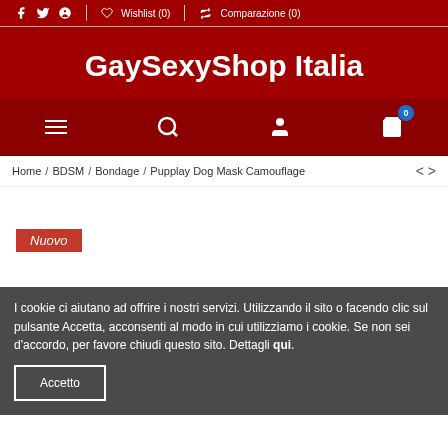f  🐦  ⊙  |  ♡ Wishlist (0)  |  ⇄ Comparazione (0)
GaySexyShop Italia
[Figure (other): Navigation icons: hamburger menu, search, user account, shopping cart with badge 0]
Home / BDSM / Bondage / Pupplay Dog Mask Camouflage
Nuovo
I cookie ci aiutano ad offrire i nostri servizi. Utilizzando il sito o facendo clic sul pulsante Accetta, acconsenti al modo in cui utilizziamo i cookie. Se non sei d'accordo, per favore chiudi questo sito. Dettagli qui.
Accetto